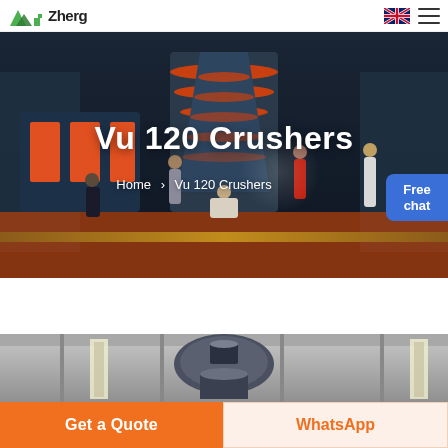Zheng [logo] — navigation header with UK flag and hamburger menu
[Figure (photo): Hero banner showing industrial crusher machinery with women in formal dresses posing in a factory setting. Dark industrial background with large cone crusher equipment.]
Vu 120 Crushers
Home > Vu 120 Crushers
Free chat
[Figure (photo): Product image of a crusher machine in an industrial warehouse/factory with Chinese text banners visible on the side.]
Get a Quote
WhatsApp